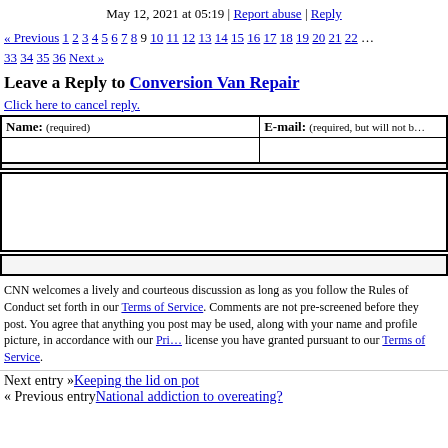May 12, 2021 at 05:19 | Report abuse | Reply
« Previous 1 2 3 4 5 6 7 8 9 10 11 12 13 14 15 16 17 18 19 20 21 22 ... 33 34 35 36 Next »
Leave a Reply to Conversion Van Repair
Click here to cancel reply.
| Name: (required) | E-mail: (required, but will not be published) |
| --- | --- |
|  |  |
CNN welcomes a lively and courteous discussion as long as you follow the Rules of Conduct set forth in our Terms of Service. Comments are not pre-screened before they post. You agree that anything you post may be used, along with your name and profile picture, in accordance with our Privacy Policy and the license you have granted pursuant to our Terms of Service.
Next entry »Keeping the lid on pot
« Previous entryNational addiction to overeating?